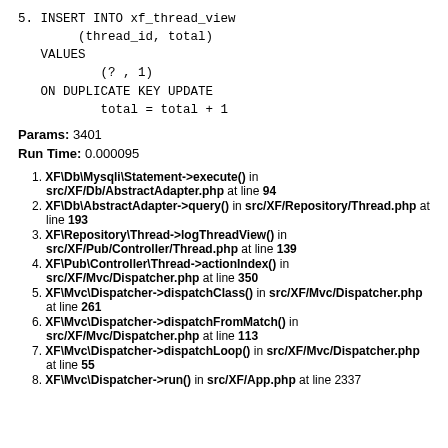5. INSERT INTO xf_thread_view
        (thread_id, total)
   VALUES
           (? , 1)
   ON DUPLICATE KEY UPDATE
           total = total + 1
Params: 3401
Run Time: 0.000095
1. XF\Db\Mysqli\Statement->execute() in src/XF/Db/AbstractAdapter.php at line 94
2. XF\Db\AbstractAdapter->query() in src/XF/Repository/Thread.php at line 193
3. XF\Repository\Thread->logThreadView() in src/XF/Pub/Controller/Thread.php at line 139
4. XF\Pub\Controller\Thread->actionIndex() in src/XF/Mvc/Dispatcher.php at line 350
5. XF\Mvc\Dispatcher->dispatchClass() in src/XF/Mvc/Dispatcher.php at line 261
6. XF\Mvc\Dispatcher->dispatchFromMatch() in src/XF/Mvc/Dispatcher.php at line 113
7. XF\Mvc\Dispatcher->dispatchLoop() in src/XF/Mvc/Dispatcher.php at line 55
8. XF\Mvc\Dispatcher->run() in src/XF/App.php at line 2337